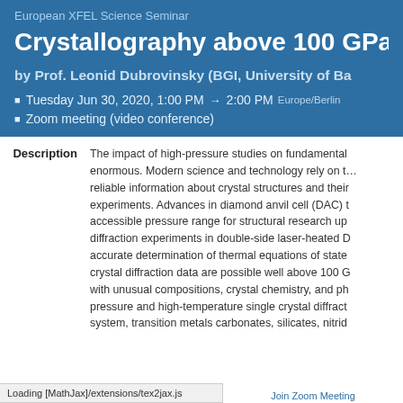European XFEL Science Seminar
Crystallography above 100 GPa: su…
by Prof. Leonid Dubrovinsky (BGI, University of Ba…
Tuesday Jun 30, 2020, 1:00 PM → 2:00 PM  Europe/Berlin
Zoom meeting (video conference)
Description  The impact of high-pressure studies on fundamental enormous. Modern science and technology rely on t… reliable information about crystal structures and their… experiments. Advances in diamond anvil cell (DAC) t… accessible pressure range for structural research up… diffraction experiments in double-side laser-heated D… accurate determination of thermal equations of state… crystal diffraction data are possible well above 100 G… with unusual compositions, crystal chemistry, and ph… pressure and high-temperature single crystal diffract… system, transition metals carbonates, silicates, nitrid…
Loading [MathJax]/extensions/tex2jax.js